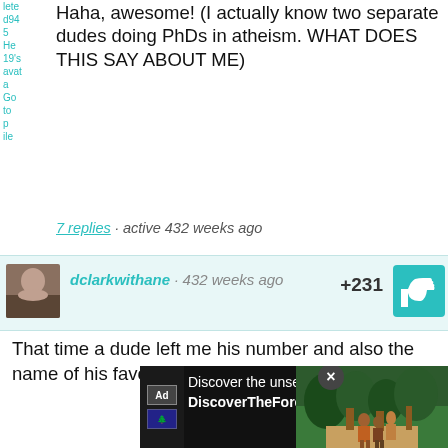Haha, awesome! (I actually know two separate dudes doing PhDs in atheism. WHAT DOES THIS SAY ABOUT ME)
7 replies · active 432 weeks ago
dclarkwithane · 432 weeks ago +231
That time a dude left me his number and also the name of his favorite Walter Benjamin essay.
6 replies · active 432 weeks ago
brookshelley · 432 weeks ago +150
I know a man with a pompadour, who considers himself a marxi... writing...
[Figure (screenshot): Advertisement overlay: 'Discover the unsearchable DiscoverTheForest.org' with forest photo and close button]